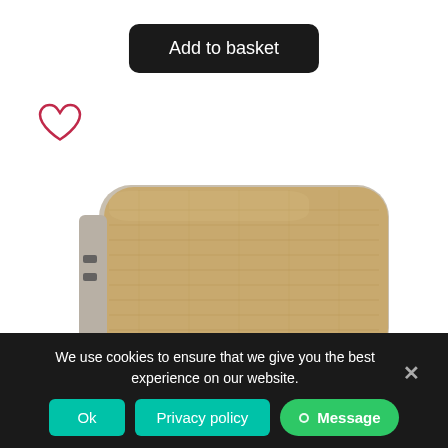[Figure (other): Black rounded rectangle button labeled 'Add to basket']
[Figure (illustration): Heart outline icon in dark red/crimson color, representing a wishlist/favorite button]
[Figure (photo): Product photo of a cork-covered portable power bank / wireless charger with USB ports visible on the side, shown on white background]
We use cookies to ensure that we give you the best experience on our website.
[Figure (other): Cookie consent bar with Ok button, Privacy policy button, Message button, and close X button]